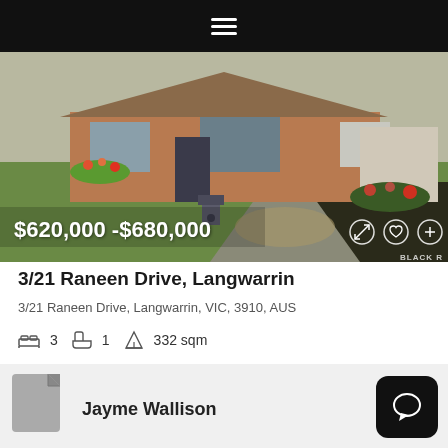[Figure (screenshot): Mobile app header with hamburger menu icon on black background]
[Figure (photo): Exterior photo of a residential property at 3/21 Raneen Drive, Langwarrin with garden, mailbox and pathway. Price overlay shows $620,000-$680,000]
3/21 Raneen Drive, Langwarrin
3/21 Raneen Drive, Langwarrin, VIC, 3910, AUS
3   1   332 sqm
Brooke Kiely
24 hours ago
Jayme Wallison